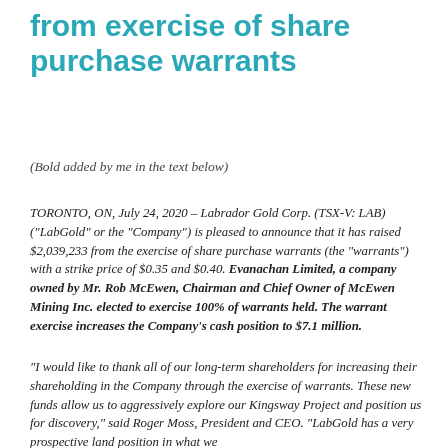from exercise of share purchase warrants
(Bold added by me in the text below)
TORONTO, ON, July 24, 2020 – Labrador Gold Corp. (TSX-V: LAB) ("LabGold" or the "Company") is pleased to announce that it has raised $2,039,233 from the exercise of share purchase warrants (the "warrants") with a strike price of $0.35 and $0.40. Evanachan Limited, a company owned by Mr. Rob McEwen, Chairman and Chief Owner of McEwen Mining Inc. elected to exercise 100% of warrants held. The warrant exercise increases the Company's cash position to $7.1 million.
“I would like to thank all of our long-term shareholders for increasing their shareholding in the Company through the exercise of warrants. These new funds allow us to aggressively explore our Kingsway Project and position us for discovery," said Roger Moss, President and CEO. “LabGold has a very prospective land position in what we